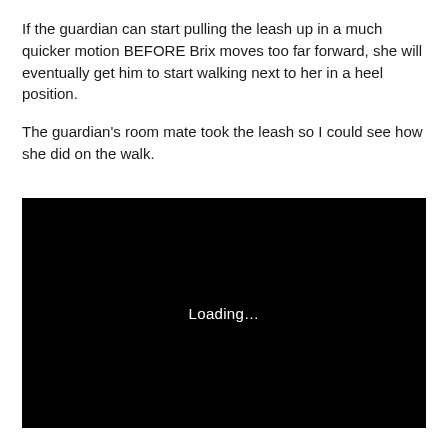If the guardian can start pulling the leash up in a much quicker motion BEFORE Brix moves too far forward, she will eventually get him to start walking next to her in a heel position.
The guardian's room mate took the leash so I could see how she did on the walk.
[Figure (screenshot): Black video player screen showing 'Loading...' text in the center]